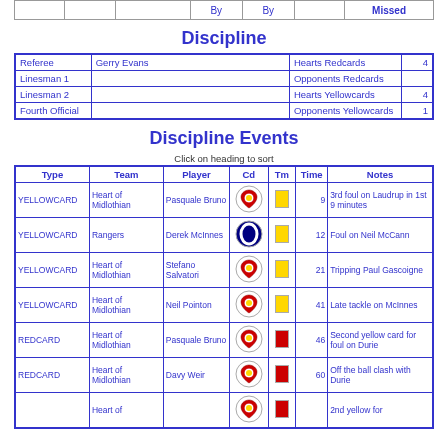|  |  |  | By | By |  | Missed |
| --- | --- | --- | --- | --- | --- | --- |
|  |
Discipline
| Referee | Gerry Evans | Hearts Redcards | 4 |
| --- | --- | --- | --- |
| Linesman 1 |  | Opponents Redcards |  |
| Linesman 2 |  | Hearts Yellowcards | 4 |
| Fourth Official |  | Opponents Yellowcards | 1 |
Discipline Events
Click on heading to sort
| Type | Team | Player | Cd | Tm | Time | Notes |
| --- | --- | --- | --- | --- | --- | --- |
| YELLOWCARD | Heart of Midlothian | Pasquale Bruno | [Hearts badge] | [Yellow] | 9 | 3rd foul on Laudrup in 1st 9 minutes |
| YELLOWCARD | Rangers | Derek McInnes | [Rangers badge] | [Yellow] | 12 | Foul on Neil McCann |
| YELLOWCARD | Heart of Midlothian | Stefano Salvatori | [Hearts badge] | [Yellow] | 21 | Tripping Paul Gascoigne |
| YELLOWCARD | Heart of Midlothian | Neil Pointon | [Hearts badge] | [Yellow] | 41 | Late tackle on McInnes |
| REDCARD | Heart of Midlothian | Pasquale Bruno | [Hearts badge] | [Red] | 46 | Second yellow card for foul on Durie |
| REDCARD | Heart of Midlothian | Davy Weir | [Hearts badge] | [Red] | 60 | Off the ball clash with Durie |
| REDCARD | Heart of |  | [Hearts badge] | [Red] |  | 2nd yellow for |